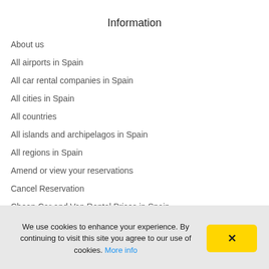Information
About us
All airports in Spain
All car rental companies in Spain
All cities in Spain
All countries
All islands and archipelagos in Spain
All regions in Spain
Amend or view your reservations
Cancel Reservation
Cheap Car and Van Rental Prices in Spain
We use cookies to enhance your experience. By continuing to visit this site you agree to our use of cookies. More info